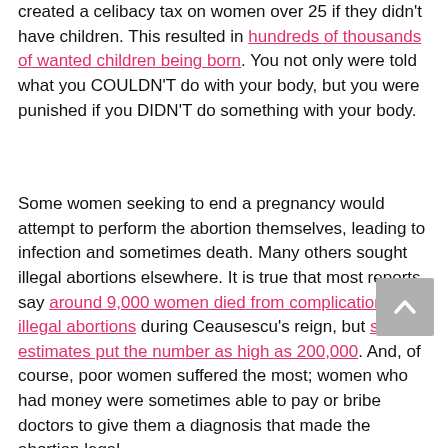created a celibacy tax on women over 25 if they didn't have children. This resulted in hundreds of thousands of wanted children being born. You not only were told what you COULDN'T do with your body, but you were punished if you DIDN'T do something with your body.
Some women seeking to end a pregnancy would attempt to perform the abortion themselves, leading to infection and sometimes death. Many others sought illegal abortions elsewhere. It is true that most reports say around 9,000 women died from complications of illegal abortions during Ceausescu's reign, but some estimates put the number as high as 200,000. And, of course, poor women suffered the most; women who had money were sometimes able to pay or bribe doctors to give them a diagnosis that made the abortion legal.